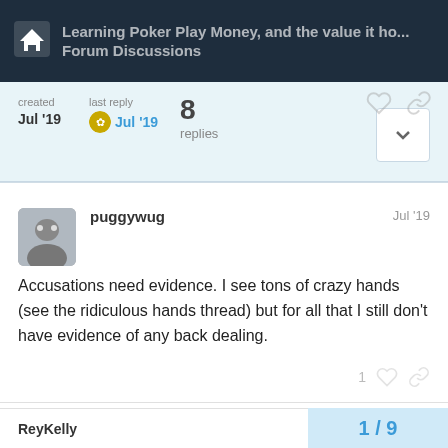Learning Poker Play Money, and the value it ho... Forum Discussions
created Jul '19   last reply Jul '19   8 replies
puggywug  Jul '19
Accusations need evidence. I see tons of crazy hands (see the ridiculous hands thread) but for all that I still don't have evidence of any back dealing.
ReyKelly  Jul '19
1 / 9